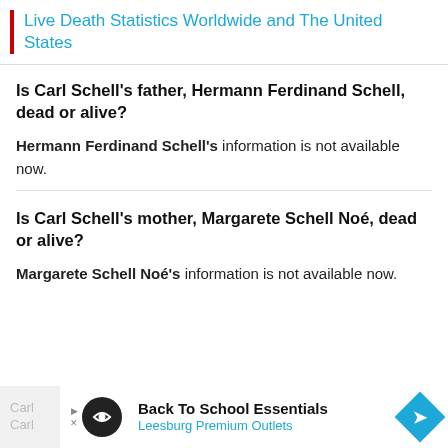Live Death Statistics Worldwide and The United States
Is Carl Schell's father, Hermann Ferdinand Schell, dead or alive?
Hermann Ferdinand Schell's information is not available now.
Is Carl Schell's mother, Margarete Schell Noé, dead or alive?
Margarete Schell Noé's information is not available now.
[Figure (other): Advertisement banner: Back To School Essentials, Leesburg Premium Outlets with play button, logo circle, and blue diamond arrow icon]